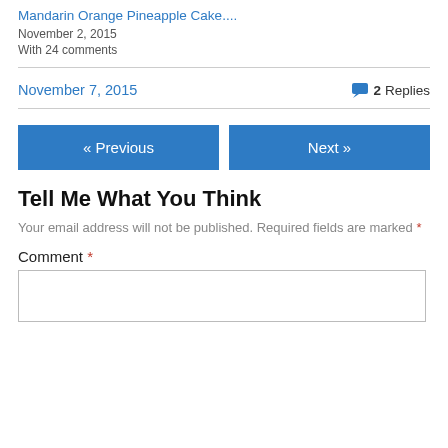Mandarin Orange Pineapple Cake....
November 2, 2015
With 24 comments
November 7, 2015
2 Replies
« Previous
Next »
Tell Me What You Think
Your email address will not be published. Required fields are marked *
Comment *